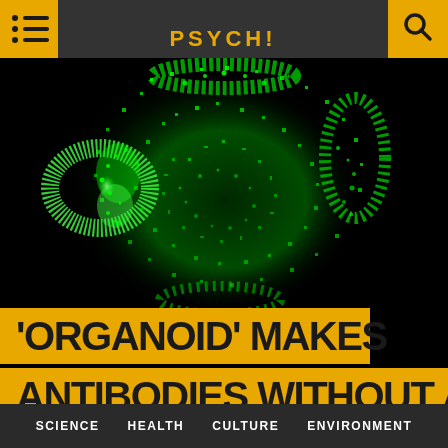PSYCH!
[Figure (photo): Fluorescence microscopy image of a cell organoid glowing bright green against a black background, showing a roughly spherical structure with internal texture and bright spots.]
'ORGANOID' MAKES ANTIBODIES WITHOUT A
SCIENCE   HEALTH   CULTURE   ENVIRONMENT